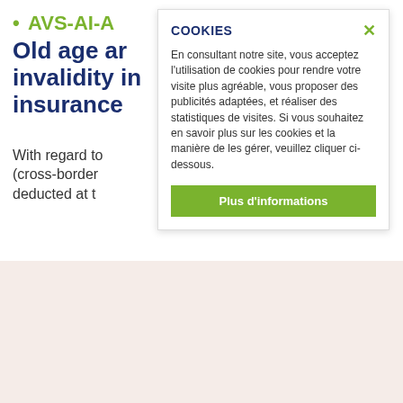• AVS-AI-A
Old age and invalidity insurance
With regard to (cross-border deducted at t
COOKIES
En consultant notre site, vous acceptez l'utilisation de cookies pour rendre votre visite plus agréable, vous proposer des publicités adaptées, et réaliser des statistiques de visites. Si vous souhaitez en savoir plus sur les cookies et la manière de les gérer, veuillez cliquer ci-dessous.
Plus d'informations
For more information, please consult our partner's website: